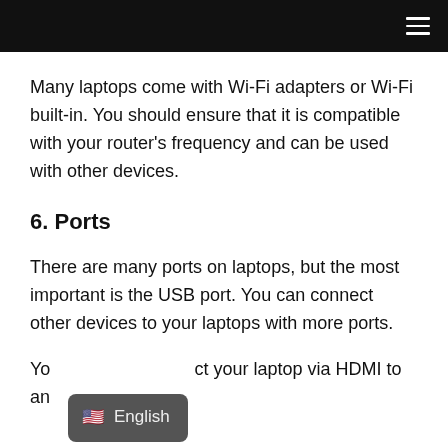Navigation menu
Many laptops come with Wi-Fi adapters or Wi-Fi built-in. You should ensure that it is compatible with your router's frequency and can be used with other devices.
6. Ports
There are many ports on laptops, but the most important is the USB port. You can connect other devices to your laptops with more ports.
Yo[English]ct your laptop via HDMI to an